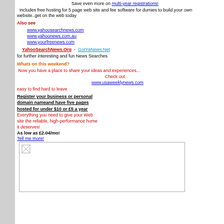Save even more on multi-year registrations!
includes free hosting for 5 page web site and fee software for dumies to build your own website..get on the web today
Also see
www.yahoosearchnews.com
www.yahoonews.com.au
www.yourfreenews.com
YahooSearchNews.Org  -  GotYaNews.Net
for further interesting and fun News Searches
Whats on this weekend?
Now you have a place to share your ideas and experiences...
Check out
www.usaweeklynews.com
easy to find hard to leave
Register your business or personal domain nameand have five pages hosted for under $10 or £5 a year
Everything you need to give your Web site the reliable, high-performance home it deserves!
As low as £2.04/mo!
Tell me more!
[Figure (other): Image placeholder box with broken image icon in top-left corner]